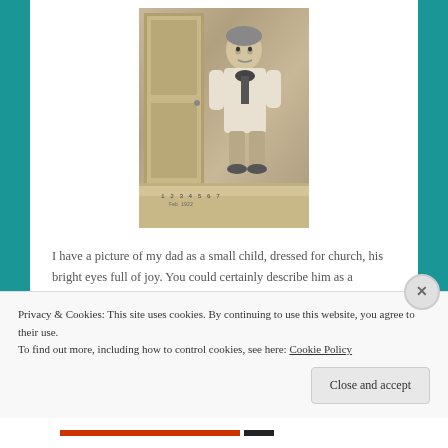[Figure (photo): Black and white vintage photograph of a young child dressed for church, standing in a doorway, with text handwritten at the bottom of the photo.]
I have a picture of my dad as a small child, dressed for church, his bright eyes full of joy. You could certainly describe him as a sunbeam sort of child.
Privacy & Cookies: This site uses cookies. By continuing to use this website, you agree to their use.
To find out more, including how to control cookies, see here: Cookie Policy